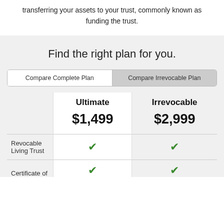transferring your assets to your trust, commonly known as funding the trust.
Find the right plan for you.
|  | Ultimate | Irrevocable |
| --- | --- | --- |
|  | $1,499 | $2,999 |
| Revocable Living Trust | ✓ | ✓ |
| Certificate of | ✓ | ✓ |